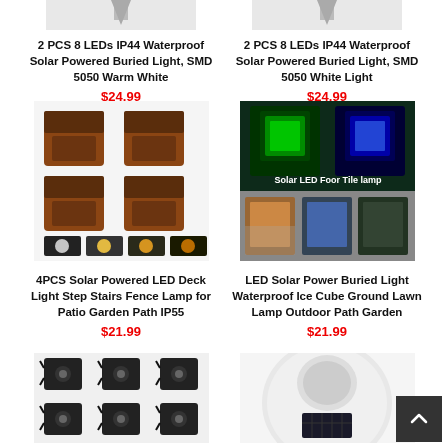[Figure (photo): 2 PCS 8 LEDs IP44 Waterproof Solar Powered Buried Light, SMD 5050 Warm White - product image (partially cropped at top)]
2 PCS 8 LEDs IP44 Waterproof Solar Powered Buried Light, SMD 5050 Warm White
$24.99
[Figure (photo): 2 PCS 8 LEDs IP44 Waterproof Solar Powered Buried Light, SMD 5050 White Light - product image (partially cropped at top)]
2 PCS 8 LEDs IP44 Waterproof Solar Powered Buried Light, SMD 5050 White Light
$24.99
[Figure (photo): 4PCS Solar Powered LED Deck Light Step Stairs Fence Lamp for Patio Garden Path IP55 - brown deck lights product image]
4PCS Solar Powered LED Deck Light Step Stairs Fence Lamp for Patio Garden Path IP55
$21.99
[Figure (photo): LED Solar Power Buried Light Waterproof Ice Cube Ground Lawn Lamp Outdoor Path Garden - colorful ice cube ground lights]
LED Solar Power Buried Light Waterproof Ice Cube Ground Lawn Lamp Outdoor Path Garden
$21.99
[Figure (photo): Small black solar deck/fence lights - product image partially visible at bottom]
[Figure (photo): Round white solar light - product image partially visible at bottom]